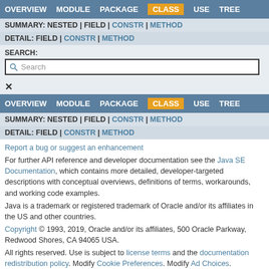OVERVIEW MODULE PACKAGE CLASS USE TREE
SUMMARY: NESTED | FIELD | CONSTR | METHOD
DETAIL: FIELD | CONSTR | METHOD
SEARCH:
Search
OVERVIEW MODULE PACKAGE CLASS USE TREE
SUMMARY: NESTED | FIELD | CONSTR | METHOD
DETAIL: FIELD | CONSTR | METHOD
Report a bug or suggest an enhancement
For further API reference and developer documentation see the Java SE Documentation, which contains more detailed, developer-targeted descriptions with conceptual overviews, definitions of terms, workarounds, and working code examples.
Java is a trademark or registered trademark of Oracle and/or its affiliates in the US and other countries.
Copyright © 1993, 2019, Oracle and/or its affiliates, 500 Oracle Parkway, Redwood Shores, CA 94065 USA.
All rights reserved. Use is subject to license terms and the documentation redistribution policy. Modify Cookie Preferences. Modify Ad Choices.